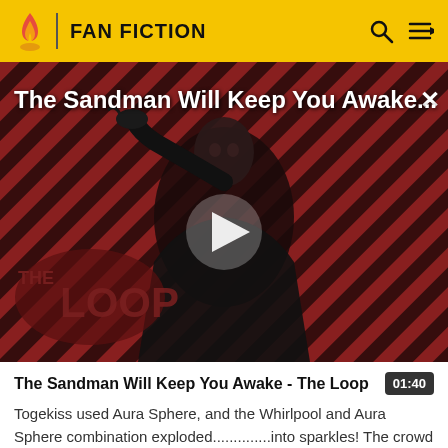FAN FICTION
[Figure (screenshot): Video thumbnail for 'The Sandman Will Keep You Awake...' showing a dark-cloaked figure against a diagonal red and black striped background, with a large white play button in the center. 'THE LOOP' watermark appears in the lower left. A white X close button is in the top right corner.]
The Sandman Will Keep You Awake - The Loop
Togekiss used Aura Sphere, and the Whirlpool and Aura Sphere combination exploded..............into sparkles! The crowd cheered out of excitement!